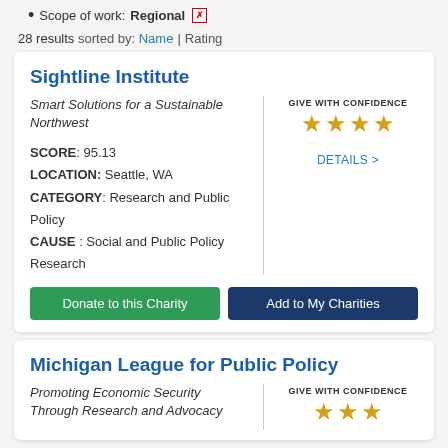Scope of work: Regional [x]
28 results sorted by: Name | Rating
Sightline Institute
Smart Solutions for a Sustainable Northwest
[Figure (infographic): GIVE WITH CONFIDENCE badge with 4 gold stars]
SCORE: 95.13
LOCATION: Seattle, WA
CATEGORY: Research and Public Policy
CAUSE : Social and Public Policy Research
DETAILS >
Donate to this Charity
Add to My Charities
Michigan League for Public Policy
Promoting Economic Security Through Research and Advocacy
[Figure (infographic): GIVE WITH CONFIDENCE badge with gold stars (partial view)]